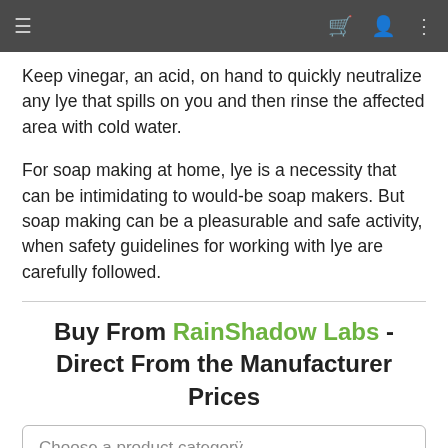≡  🛒  👤  ⋮
Keep vinegar, an acid, on hand to quickly neutralize any lye that spills on you and then rinse the affected area with cold water.
For soap making at home, lye is a necessity that can be intimidating to would-be soap makers. But soap making can be a pleasurable and safe activity, when safety guidelines for working with lye are carefully followed.
Buy From RainShadow Labs - Direct From the Manufacturer Prices
Choose a product category